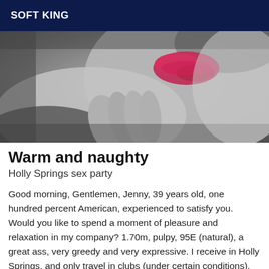SOFT KING
[Figure (photo): Black and white close-up photo of a hand near lips with red lipstick]
Warm and naughty
Holly Springs sex party
Good morning, Gentlemen, Jenny, 39 years old, one hundred percent American, experienced to satisfy you. Would you like to spend a moment of pleasure and relaxation in my company? 1.70m, pulpy, 95E (natural), a great ass, very greedy and very expressive. I receive in Holly Springs, and only travel in clubs (under certain conditions). Recent and authentic photos. You : MEN, WOMEN or COUPLES between 20 and 55 years old,